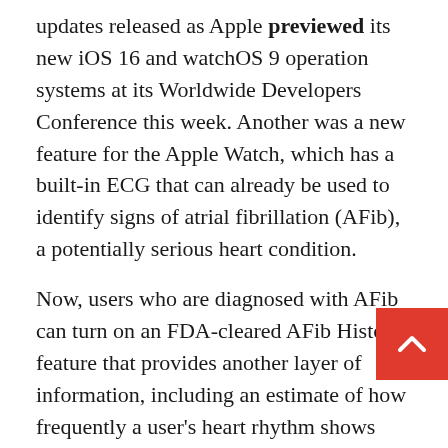updates released as Apple previewed its new iOS 16 and watchOS 9 operation systems at its Worldwide Developers Conference this week. Another was a new feature for the Apple Watch, which has a built-in ECG that can already be used to identify signs of atrial fibrillation (AFib), a potentially serious heart condition.
Now, users who are diagnosed with AFib can turn on an FDA-cleared AFib History feature that provides another layer of information, including an estimate of how frequently a user's heart rhythm shows signs of AFib.
They will receive weekly notifications to understand frequency and view their AFib h in the Health app, including lifestyle factors may influence the condition, like sleep, alcohol